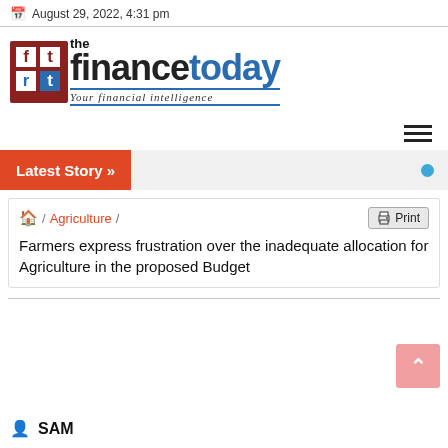August 29, 2022, 4:31 pm
[Figure (logo): The Finance Today logo with icon, stylized text 'the financetoday' and tagline 'Your financial intelligence']
≡ (hamburger menu icon)
Latest Story »
🏠 / Agriculture / Print
Farmers express frustration over the inadequate allocation for Agriculture in the proposed Budget
SAM